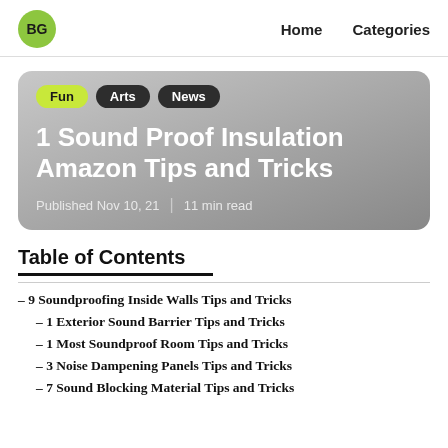BG  Home  Categories
[Figure (other): Hero card with tags Fun, Arts, News, article title '1 Sound Proof Insulation Amazon Tips and Tricks', published Nov 10, 21, 11 min read]
1 Sound Proof Insulation Amazon Tips and Tricks
Published Nov 10, 21  |  11 min read
Table of Contents
– 9 Soundproofing Inside Walls Tips and Tricks
– 1 Exterior Sound Barrier Tips and Tricks
– 1 Most Soundproof Room Tips and Tricks
– 3 Noise Dampening Panels Tips and Tricks
– 7 Sound Blocking Material Tips and Tricks